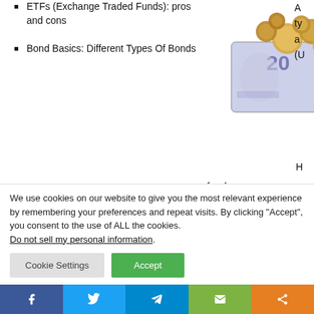ETFs (Exchange Traded Funds): pros and cons
Bond Basics: Different Types Of Bonds
[Figure (photo): Photo of a 20 zloty banknote with various coins on top of it]
Categories
funds:
Business
eCommerce
Finance
Freelance
– Closed-end funds generally o shares at one time (in an initial p the New York Stock Exchange o
– The price of closed-end fund
We use cookies on our website to give you the most relevant experience by remembering your preferences and repeat visits. By clicking "Accept", you consent to the use of ALL the cookies.
Do not sell my personal information.